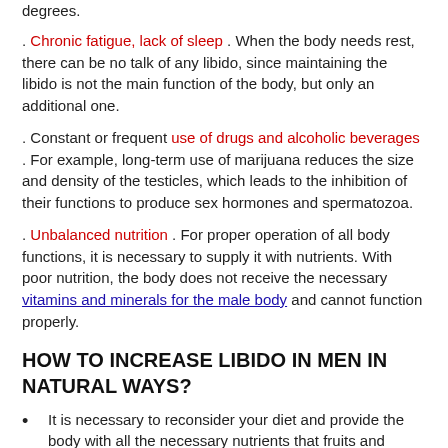degrees.
. Chronic fatigue, lack of sleep . When the body needs rest, there can be no talk of any libido, since maintaining the libido is not the main function of the body, but only an additional one.
. Constant or frequent use of drugs and alcoholic beverages . For example, long-term use of marijuana reduces the size and density of the testicles, which leads to the inhibition of their functions to produce sex hormones and spermatozoa.
. Unbalanced nutrition . For proper operation of all body functions, it is necessary to supply it with nutrients. With poor nutrition, the body does not receive the necessary vitamins and minerals for the male body and cannot function properly.
HOW TO INCREASE LIBIDO IN MEN IN NATURAL WAYS?
It is necessary to reconsider your diet and provide the body with all the necessary nutrients that fruits and vegetables are rich in. Do not forget to include in your diet foods that increase sexual desire and potency - male aphrodisiacs .
With insufficient levels of sex hormones, you need to wonder about testosterone increase in natural ways . It is